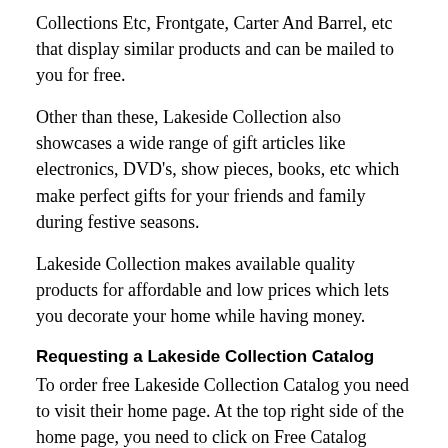Collections Etc, Frontgate, Carter And Barrel, etc that display similar products and can be mailed to you for free.
Other than these, Lakeside Collection also showcases a wide range of gift articles like electronics, DVD's, show pieces, books, etc which make perfect gifts for your friends and family during festive seasons.
Lakeside Collection makes available quality products for affordable and low prices which lets you decorate your home while having money.
Requesting a Lakeside Collection Catalog
To order free Lakeside Collection Catalog you need to visit their home page. At the top right side of the home page, you need to click on Free Catalog symbol. This will take you to the catalog request form. You need to fill in essential information like your full name, detailed address